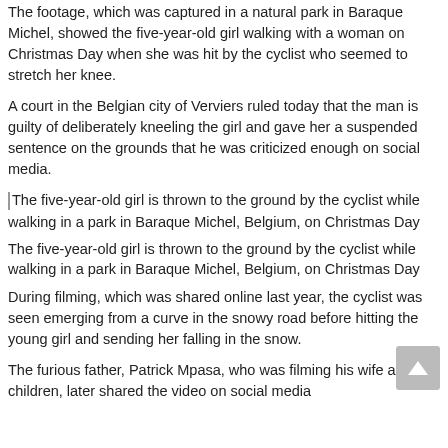The footage, which was captured in a natural park in Baraque Michel, showed the five-year-old girl walking with a woman on Christmas Day when she was hit by the cyclist who seemed to stretch her knee.
A court in the Belgian city of Verviers ruled today that the man is guilty of deliberately kneeling the girl and gave her a suspended sentence on the grounds that he was criticized enough on social media.
[Figure (photo): Image placeholder icon followed by caption text inline: The five-year-old girl is thrown to the ground by the cyclist while walking in a park in Baraque Michel, Belgium, on Christmas Day]
The five-year-old girl is thrown to the ground by the cyclist while walking in a park in Baraque Michel, Belgium, on Christmas Day
During filming, which was shared online last year, the cyclist was seen emerging from a curve in the snowy road before hitting the young girl and sending her falling in the snow.
The furious father, Patrick Mpasa, who was filming his wife and two children, later shared the video on social media